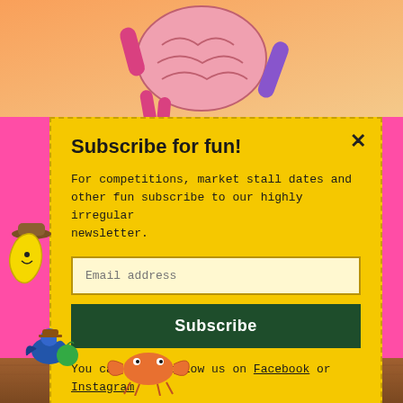[Figure (illustration): Top banner showing cartoon brain character with colorful legs/arms on an orange gradient background]
Subscribe for fun!
For competitions, market stall dates and other fun subscribe to our highly irregular newsletter.
Email address (input field placeholder)
Subscribe (button)
You can also follow us on Facebook or Instagram
[Figure (illustration): Cartoon characters bottom left: bird with apple, crab/lobster creature]
[Figure (illustration): Bottom strip showing ground/dirt texture with pink ribbon]